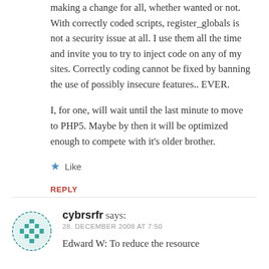making a change for all, whether wanted or not. With correctly coded scripts, register_globals is not a security issue at all. I use them all the time and invite you to try to inject code on any of my sites. Correctly coding cannot be fixed by banning the use of possibly insecure features.. EVER.

I, for one, will wait until the last minute to move to PHP5. Maybe by then it will be optimized enough to compete with it's older brother.
★ Like
REPLY
cybrsrfr says:
28. DECEMBER 2008 AT 7:50
Edward W: To reduce the resource